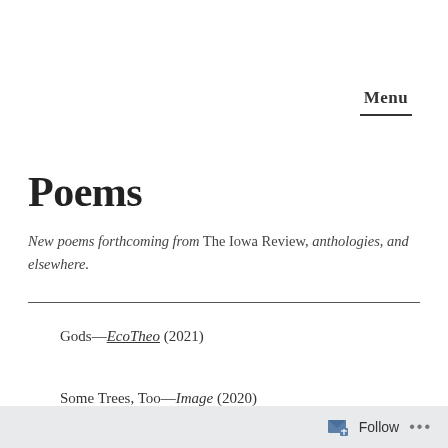Menu
Poems
New poems forthcoming from The Iowa Review, anthologies, and elsewhere.
Gods—EcoTheo (2021)
Some Trees, Too—Image (2020)
Follow ...